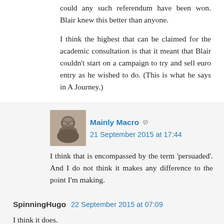could any such referendum have been won. Blair knew this better than anyone.
I think the highest that can be claimed for the academic consultation is that it meant that Blair couldn't start on a campaign to try and sell euro entry as he wished to do. (This is what he says in A Journey.)
Mainly Macro · 21 September 2015 at 17:44
I think that is encompassed by the term 'persuaded'. And I do not think it makes any difference to the point I'm making.
SpinningHugo 22 September 2015 at 07:09
I think it does.
The dispute was a political one between Brown and Blair. Blair wanted in. Brown didn't. The academics were drafted in to provide Brown with